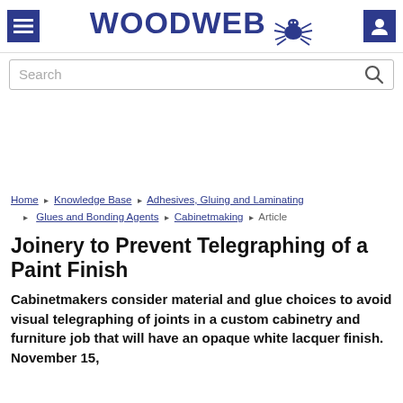WOODWEB
Search
Home › Knowledge Base › Adhesives, Gluing and Laminating › Glues and Bonding Agents › Cabinetmaking › Article
Joinery to Prevent Telegraphing of a Paint Finish
Cabinetmakers consider material and glue choices to avoid visual telegraphing of joints in a custom cabinetry and furniture job that will have an opaque white lacquer finish. November 15,